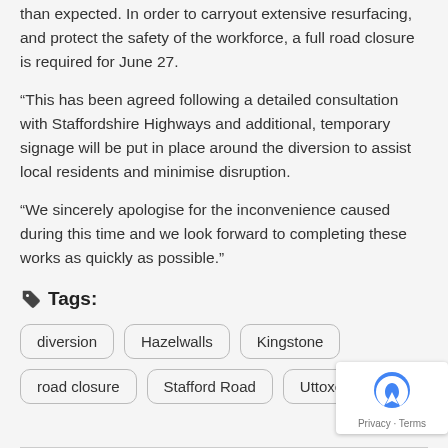than expected. In order to carryout extensive resurfacing, and protect the safety of the workforce, a full road closure is required for June 27.
“This has been agreed following a detailed consultation with Staffordshire Highways and additional, temporary signage will be put in place around the diversion to assist local residents and minimise disruption.
“We sincerely apologise for the inconvenience caused during this time and we look forward to completing these works as quickly as possible.”
Tags:
diversion
Hazelwalls
Kingstone
road closure
Stafford Road
Uttoxe...